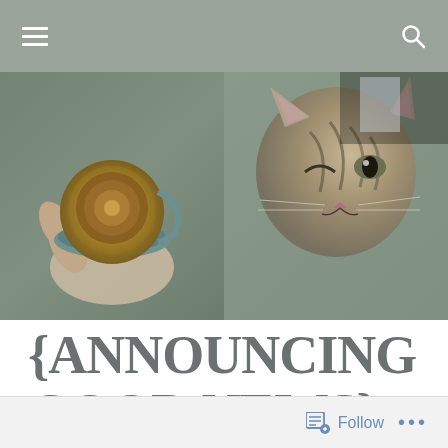Navigation bar with hamburger menu and search icon
[Figure (photo): Overhead photo split into two halves: left side shows a hand holding a coffee cup with latte art viewed from above on a gray fabric background; right side shows a close-up of a tabby cat's face looking upward.]
{ANNOUNCING GOOD NEWS}
Follow ...